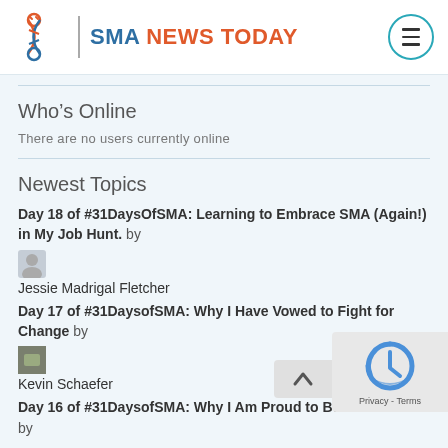SMA NEWS TODAY
Who’s Online
There are no users currently online
Newest Topics
Day 18 of #31DaysOfSMA: Learning to Embrace SMA (Again!) in My Job Hunt. by Jessie Madrigal Fletcher
Day 17 of #31DaysofSMA: Why I Have Vowed to Fight for Change by Kevin Schaefer
Day 16 of #31DaysofSMA: Why I Am Proud to Be Di... by